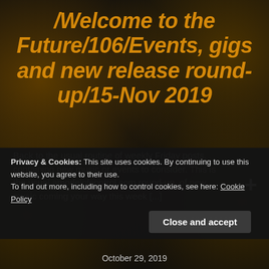/Welcome to the Future/106/Events, gigs and new release round-up/15-Nov 2019
Back to the usual routine of weekly Friday posts, containing new music or events to consider. This is the usual amodelofcontrol.com round-up, of new music coming your way this week [...]
Privacy & Cookies: This site uses cookies. By continuing to use this website, you agree to their use.
To find out more, including how to control cookies, see here: Cookie Policy
Close and accept
October 29, 2019